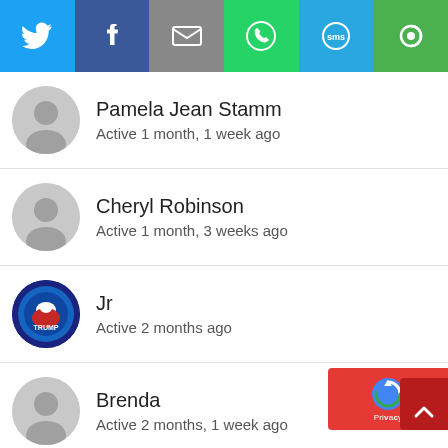[Figure (screenshot): Top toolbar with social sharing icons: Twitter (blue bird), Facebook (f), Email (envelope), WhatsApp (phone handset), SMS, and another icon]
Pamela Jean Stamm
Active 1 month, 1 week ago
Cheryl Robinson
Active 1 month, 3 weeks ago
Jr
Active 2 months ago
Brenda
Active 2 months, 1 week ago
Destry P.
Active 2 months, 1 week ago